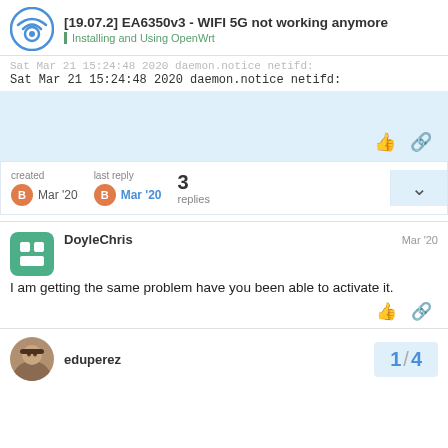[19.07.2] EA6350v3 - WIFI 5G not working anymore — Installing and Using OpenWrt
Sat Mar 21 15:24:48 2020 daemon.notice netifd:
Sat Mar 21 15:24:48 2020 daemon.notice netifd:
created Mar '20  last reply Mar '20  3 replies
DoyleChris  Mar '20
I am getting the same problem have you been able to activate it.
eduperez  1 / 4